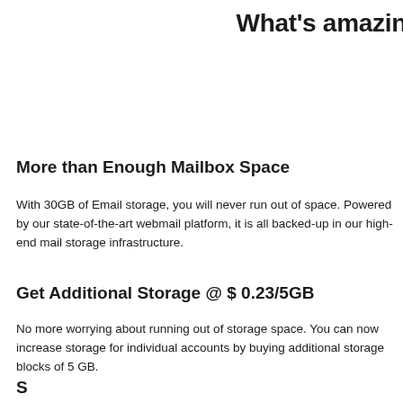What's amazin
More than Enough Mailbox Space
With 30GB of Email storage, you will never run out of space. Powered by our state-of-the-art webmail platform, it is all backed-up in our high-end mail storage infrastructure.
Get Additional Storage @ $ 0.23/5GB
No more worrying about running out of storage space. You can now increase storage for individual accounts by buying additional storage blocks of 5 GB.
S...S...